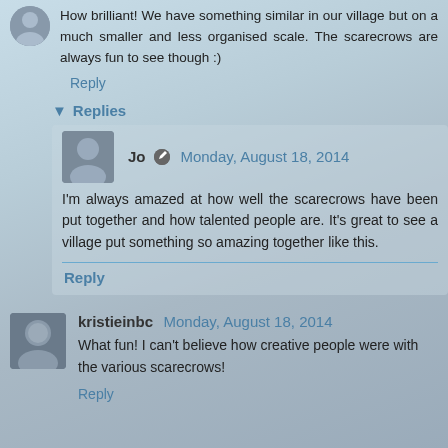How brilliant! We have something similar in our village but on a much smaller and less organised scale. The scarecrows are always fun to see though :)
Reply
Replies
Jo  Monday, August 18, 2014
I'm always amazed at how well the scarecrows have been put together and how talented people are. It's great to see a village put something so amazing together like this.
Reply
kristieinbc  Monday, August 18, 2014
What fun! I can't believe how creative people were with the various scarecrows!
Reply